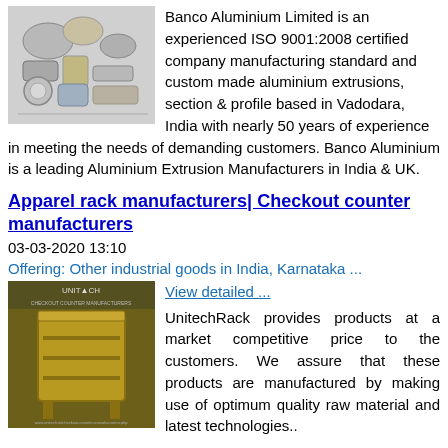[Figure (photo): Photo of aluminium extrusion parts and fittings, various shapes in silver/gold metallic tones]
Banco Aluminium Limited is an experienced ISO 9001:2008 certified company manufacturing standard and custom made aluminium extrusions, section & profile based in Vadodara, India with nearly 50 years of experience in meeting the needs of demanding customers. Banco Aluminium is a leading Aluminium Extrusion Manufacturers in India & UK.
Apparel rack manufacturers| Checkout counter manufacturers
03-03-2020 13:10
Offering: Other industrial goods in India, Karnataka ...
View detailed ...
[Figure (photo): Photo of a checkout counter / display rack with golden/yellow color, branded UNITECH, showing shelving unit product]
UnitechRack provides products at a market competitive price to the customers. We assure that these products are manufactured by making use of optimum quality raw material and latest technologies..
Hplc columns Riki Global
03-03-2020 12:57 Price: 55 000 INR Rs
Offering: Other industrial goods in India, Andhra Pradesh